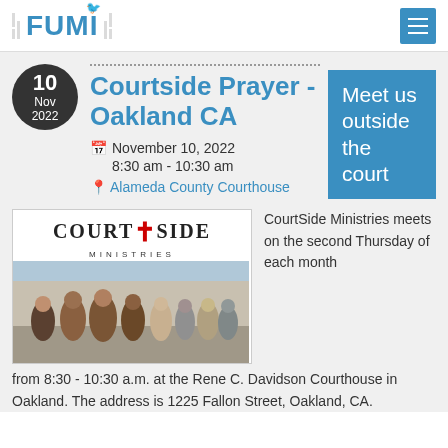FUMI
Courtside Prayer - Oakland CA
November 10, 2022 8:30 am - 10:30 am
Alameda County Courthouse
Meet us outside the court
[Figure (photo): CourtSide Ministries logo and crowd gathered outside courthouse]
CourtSide Ministries meets on the second Thursday of each month from 8:30 - 10:30 a.m. at the Rene C. Davidson Courthouse in Oakland. The address is 1225 Fallon Street, Oakland, CA.